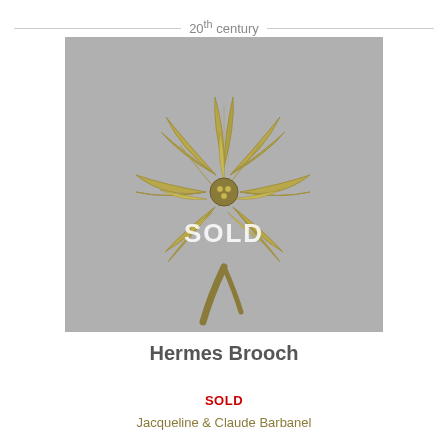20th century
[Figure (photo): Gold Hermes brooch in the shape of a poinsettia flower with detailed leaf texture and a curved stem, on a grey background. Text 'SOLD' overlaid in white.]
Hermes Brooch
SOLD
Jacqueline & Claude Barbanel